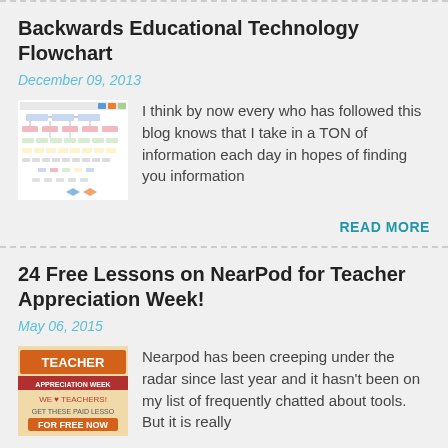Backwards Educational Technology Flowchart
December 09, 2013
[Figure (flowchart): Thumbnail image of an educational technology flowchart with boxes and arrows]
I think by now every who has followed this blog knows that I take in a TON of information each day in hopes of finding you information
READ MORE
24 Free Lessons on NearPod for Teacher Appreciation Week!
May 06, 2015
[Figure (photo): Teacher Appreciation Week promotional banner with text TEACHER APPRECIATION WEEK, WE LOVE TEACHERS!, GET THESE PAID LESSONS FOR FREE NOW]
Nearpod has been creeping under the radar since last year and it hasn't been on my list of frequently chatted about tools. But it is really